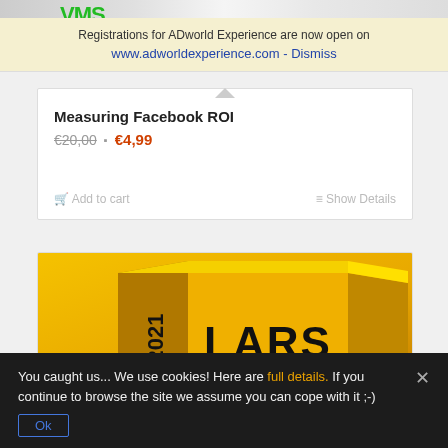[Figure (screenshot): Top portion of a web page showing a product image strip]
Registrations for ADworld Experience are now open on www.adworldexperience.com - Dismiss
Measuring Facebook ROI
€20,00 · €4,99
Add to cart    Show Details
[Figure (photo): Yellow 3D book/box with text LARS and year 2021]
You caught us... We use cookies! Here are full details. If you continue to browse the site we assume you can cope with it ;-)
Ok